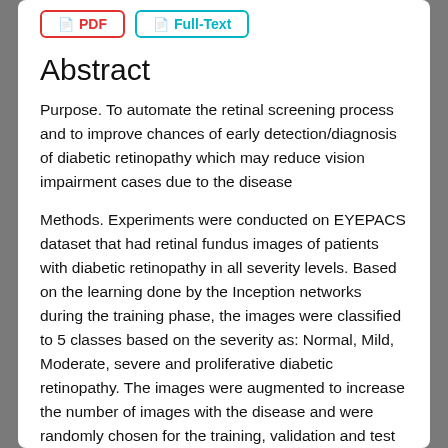PDF | Full-Text
Abstract
Purpose. To automate the retinal screening process and to improve chances of early detection/diagnosis of diabetic retinopathy which may reduce vision impairment cases due to the disease
Methods. Experiments were conducted on EYEPACS dataset that had retinal fundus images of patients with diabetic retinopathy in all severity levels. Based on the learning done by the Inception networks during the training phase, the images were classified to 5 classes based on the severity as: Normal, Mild, Moderate, severe and proliferative diabetic retinopathy. The images were augmented to increase the number of images with the disease and were randomly chosen for the training, validation and test datasets.